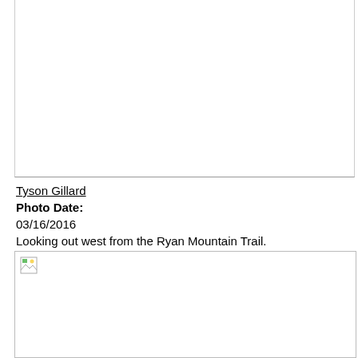[Figure (photo): Empty/blank photo area at top of page (image not loaded)]
Tyson Gillard
Photo Date:
03/16/2016
Looking out west from the Ryan Mountain Trail.
[Figure (photo): Broken/unloaded image placeholder for photo by Tyson Gillard taken 03/16/2016, looking out west from the Ryan Mountain Trail]